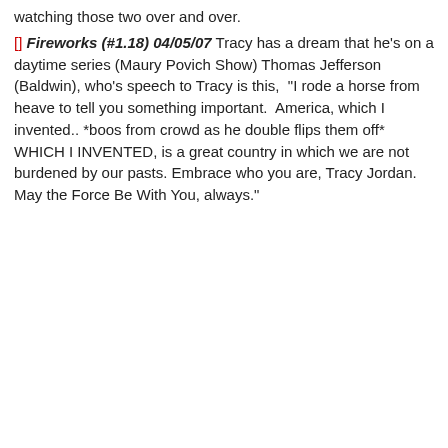watching those two over and over.
[] Fireworks (#1.18) 04/05/07 Tracy has a dream that he's on a daytime series (Maury Povich Show) Thomas Jefferson (Baldwin), who's speech to Tracy is this,  "I rode a horse from heave to tell you something important.  America, which I invented.. *boos from crowd as he double flips them off* WHICH I INVENTED, is a great country in which we are not burdened by our pasts. Embrace who you are, Tracy Jordan. May the Force Be With You, always."